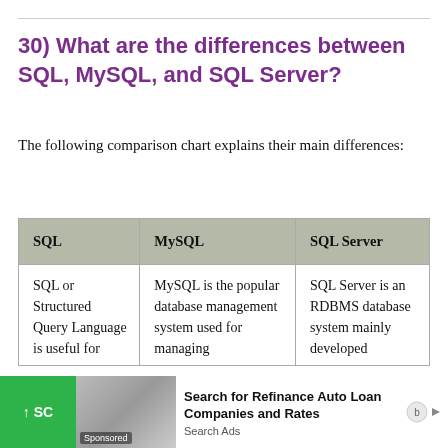30) What are the differences between SQL, MySQL, and SQL Server?
The following comparison chart explains their main differences:
| SQL | MySQL | SQL Server |
| --- | --- | --- |
| SQL or Structured Query Language is useful for | MySQL is the popular database management system used for managing | SQL Server is an RDBMS database system mainly developed |
[Figure (screenshot): Advertisement overlay: green button with up arrow and 'SC', car image with 'Sponsored' label, text 'Search for Refinance Auto Loan Companies and Rates', 'Search Ads' with Bing icon]